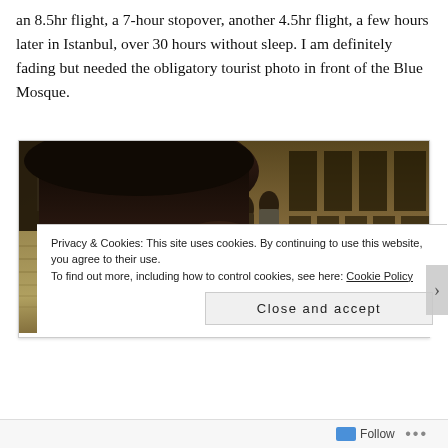an 8.5hr flight, a 7-hour stopover, another 4.5hr flight, a few hours later in Istanbul, over 30 hours without sleep. I am definitely fading but needed the obligatory tourist photo in front of the Blue Mosque.
[Figure (photo): Nighttime photo of a person (foreground, dark hair, glasses) in front of the Blue Mosque in Istanbul. The background shows illuminated stone steps and walls, with two people visible in the mid-ground.]
Privacy & Cookies: This site uses cookies. By continuing to use this website, you agree to their use.
To find out more, including how to control cookies, see here: Cookie Policy
Close and accept
Follow